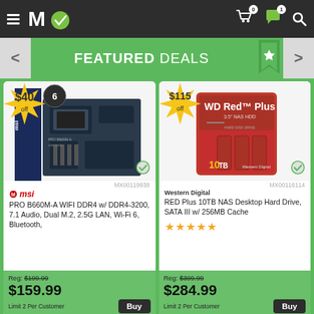Micro Center - FEATURED DEALS
[Figure (screenshot): Micro Center website featured deals page showing two product cards: MSI PRO B660M-A WIFI DDR4 motherboard at $159.99 (reg $199.99, $40 off) and WD Red Plus 10TB NAS Desktop Hard Drive at $284.99 (reg $399.99, $115 off)]
$40 off
MX00119938
MSI PRO B660M-A WIFI DDR4 w/ DDR4-3200, 7.1 Audio, Dual M.2, 2.5G LAN, Wi-Fi 6, Bluetooth,
Reg: $199.99
$159.99
Limit 2 Per Customer
$115 off
MX00116114
Western Digital RED Plus 10TB NAS Desktop Hard Drive, SATA III w/ 256MB Cache
Reg: $399.99
$284.99
Limit 2 Per Customer